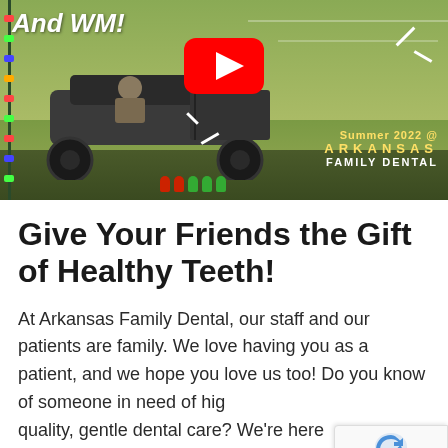[Figure (screenshot): YouTube video thumbnail showing a UTV/ATV vehicle in an outdoor field setting with text 'And WM!' in script font at top left, a red YouTube play button in center, and 'Summer 2022 @ ARKANSAS FAMILY DENTAL' text overlay at bottom right. Christmas lights visible on left edge.]
Give Your Friends the Gift of Healthy Teeth!
At Arkansas Family Dental, our staff and our patients are family. We love having you as a patient, and we hope you love us too! Do you know of someone in need of high quality, gentle dental care? We're here it.